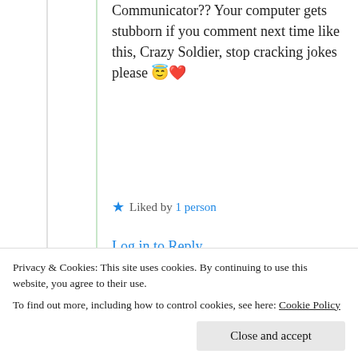Communicator?? Your computer gets stubborn if you comment next time like this, Crazy Soldier, stop cracking jokes please 😇❤️
★ Liked by 1 person
Log in to Reply
[Figure (photo): Avatar photo of user .Killa. — a circular profile picture showing a person or figure]
.Killa.
Privacy & Cookies: This site uses cookies. By continuing to use this website, you agree to their use. To find out more, including how to control cookies, see here: Cookie Policy
Close and accept
soldier 💙🔫 · 1